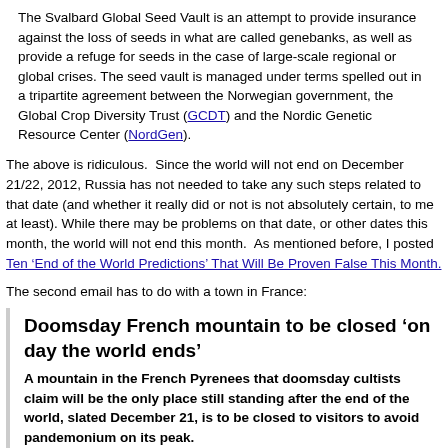The Svalbard Global Seed Vault is an attempt to provide insurance against the loss of seeds in what are called genebanks, as well as provide a refuge for seeds in the case of large-scale regional or global crises. The seed vault is managed under terms spelled out in a tripartite agreement between the Norwegian government, the Global Crop Diversity Trust (GCDT) and the Nordic Genetic Resource Center (NordGen).
The above is ridiculous. Since the world will not end on December 21/22, 2012, Russia has not needed to take any such steps related to that date (and whether it really did or not is not absolutely certain, to me at least). While there may be problems on that date, or other dates this month, the world will not end this month. As mentioned before, I posted Ten 'End of the World Predictions' That Will Be Proven False This Month.
The second email has to do with a town in France:
Doomsday French mountain to be closed 'on day the world ends'
A mountain in the French Pyrenees that doomsday cultists claim will be the only place still standing after the end of the world, slated December 21, is to be closed to visitors to avoid pandemonium on its peak.
Dec 3, 2012
http://www.telegraph.co.uk/news/worldnews/europe/fraurnce/9718820/Door